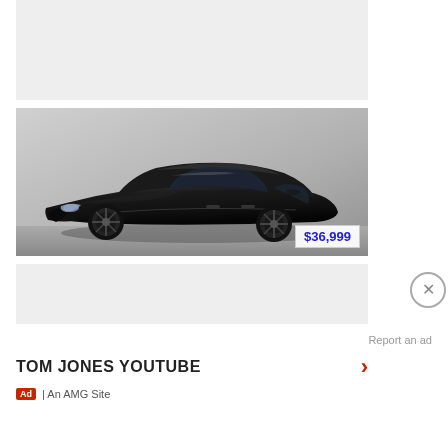[Figure (other): Top advertisement banner (gray placeholder)]
[Figure (photo): Black Tesla Model S electric sedan, three-quarter front view, with price tag $36,999 overlaid in blue text on white background in lower right corner]
[Figure (other): Bottom advertisement banner (gray placeholder)]
Report an ad
TOM JONES YOUTUBE
Ad | An AMG Site